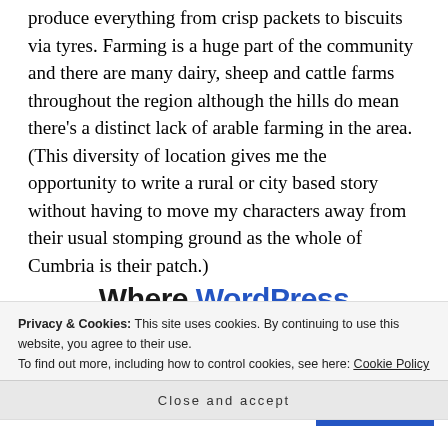produce everything from crisp packets to biscuits via tyres. Farming is a huge part of the community and there are many dairy, sheep and cattle farms throughout the region although the hills do mean there’s a distinct lack of arable farming in the area. (This diversity of location gives me the opportunity to write a rural or city based story without having to move my characters away from their usual stomping ground as the whole of Cumbria is their patch.)
[Figure (other): WordPress advertisement banner showing 'Where WordPress Works Best' with a SEE PRICING button]
Privacy & Cookies: This site uses cookies. By continuing to use this website, you agree to their use.
To find out more, including how to control cookies, see here: Cookie Policy
Close and accept